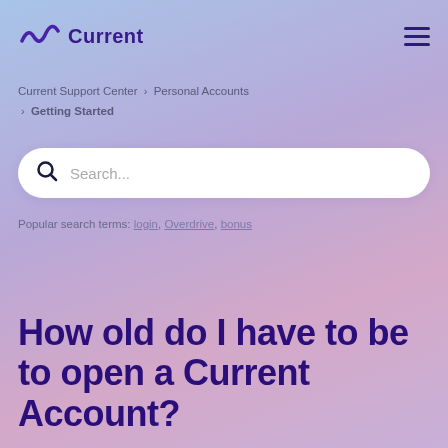Current
Current Support Center › Personal Accounts › Getting Started
[Figure (other): Search bar with placeholder text 'Search...']
Popular search terms: login, Overdrive, bonus
How old do I have to be to open a Current Account?